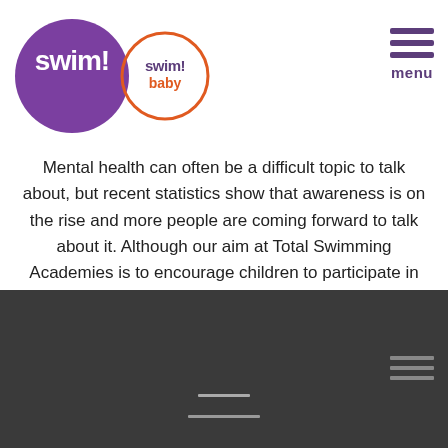[Figure (logo): Swim! purple circle logo and Swim! baby orange circle logo side by side]
[Figure (other): Hamburger menu icon with three purple horizontal lines and 'menu' text below]
Mental health can often be a difficult topic to talk about, but recent statistics show that awareness is on the rise and more people are coming forward to talk about it. Although our aim at Total Swimming Academies is to encourage children to participate in sport and enjoy the benefits of regular exercise, it's